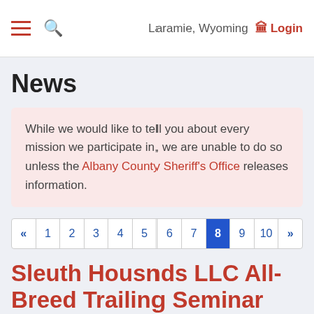Laramie, Wyoming   Login
News
While we would like to tell you about every mission we participate in, we are unable to do so unless the Albany County Sheriff's Office releases information.
« 1 2 3 4 5 6 7 8 9 10 »
Sleuth Housnds LLC All-Breed Trailing Seminar
3/3/2014
ALL-BREED TRAILING SEMINAR